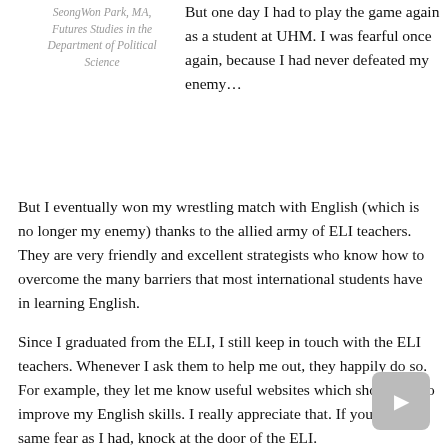SeongWon Park, MA, Futures Studies in the Department of Political Science
But one day I had to play the game again as a student at UHM. I was fearful once again, because I had never defeated my enemy…
But I eventually won my wrestling match with English (which is no longer my enemy) thanks to the allied army of ELI teachers. They are very friendly and excellent strategists who know how to overcome the many barriers that most international students have in learning English.
Since I graduated from the ELI, I still keep in touch with the ELI teachers. Whenever I ask them to help me out, they happily do so. For example, they let me know useful websites which show how to improve my English skills. I really appreciate that. If you have the same fear as I had, knock at the door of the ELI.